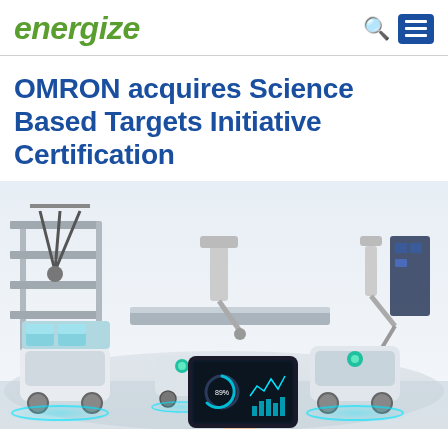energize
OMRON acquires Science Based Targets Initiative Certification
[Figure (photo): Industrial automation scene showing robotic arms, autonomous mobile robots (AMRs) with glowing teal rings, a robotic arm on the right, a person holding a tablet displaying a dashboard with 89% and charts, all in a bright factory/warehouse environment.]